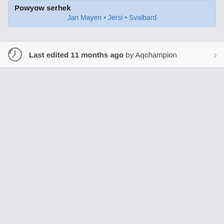Powyow serhek · Jan Mayen • Jersi • Svalbard
Last edited 11 months ago by Aqchampion